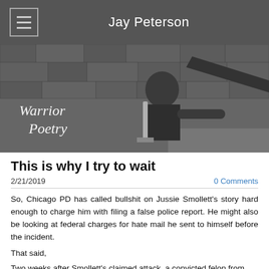Jay Peterson
[Figure (photo): Black and white photo of a bearded man holding a sword, standing in front of a stone wall. Text overlay reads 'Warrior Poetry' in a decorative font.]
This is why I try to wait
2/21/2019
0 Comments
So, Chicago PD has called bullshit on Jussie Smollett's story hard enough to charge him with filing a false police report. He might also be looking at federal charges for hate mail he sent to himself before the incident.
That said,
Two weeks after Smollett's claimed attack, a convicted felon from